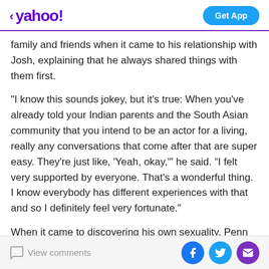< yahoo!  Get App
family and friends when it came to his relationship with Josh, explaining that he always shared things with them first.
"I know this sounds jokey, but it's true: When you've already told your Indian parents and the South Asian community that you intend to be an actor for a living, really any conversations that come after that are super easy. They're just like, 'Yeah, okay,'" he said. “I felt very supported by everyone. That's a wonderful thing. I know everybody has different experiences with that and so I definitely feel very fortunate."
When it came to discovering his own sexuality, Penn said
View comments